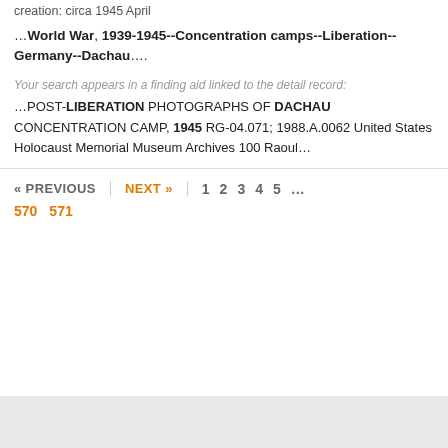creation: circa 1945 April
…World War, 1939-1945--Concentration camps--Liberation--Germany--Dachau….
Your search appears in a finding aid linked to the detail record:
…POST-LIBERATION PHOTOGRAPHS OF DACHAU CONCENTRATION CAMP, 1945 RG-04.071; 1988.A.0062 United States Holocaust Memorial Museum Archives 100 Raoul…
« PREVIOUS  NEXT »  1  2  3  4  5  ...  570  571